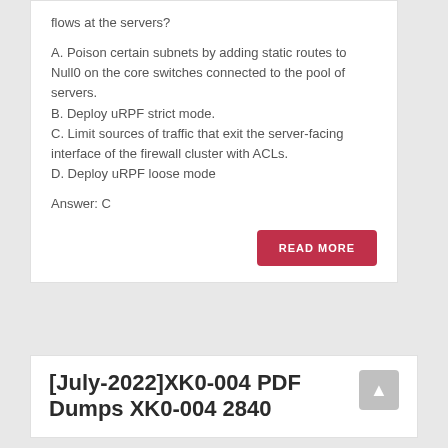flows at the servers?
A. Poison certain subnets by adding static routes to Null0 on the core switches connected to the pool of servers.
B. Deploy uRPF strict mode.
C. Limit sources of traffic that exit the server-facing interface of the firewall cluster with ACLs.
D. Deploy uRPF loose mode
Answer: C
[July-2022]XK0-004 PDF Dumps XK0-004 2840